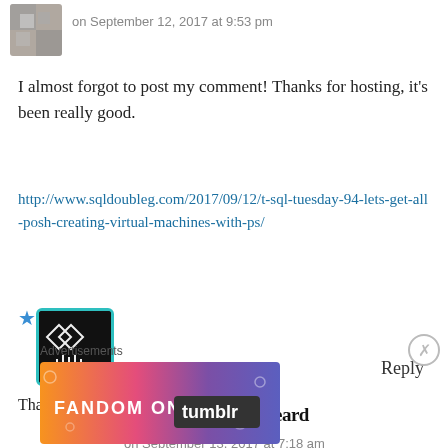on September 12, 2017 at 9:53 pm
I almost forgot to post my comment! Thanks for hosting, it's been really good.
http://www.sqldoubleg.com/2017/09/12/t-sql-tuesday-94-lets-get-all-posh-creating-virtual-machines-with-ps/
Loading...
Reply
[Figure (photo): Avatar photo of SQLDBAwithTheBeard with teal border]
SQLDBAwithTheBeard
on September 13, 2017 at 7:18 am
Thank you Paul
Advertisements
[Figure (photo): Fandom on Tumblr advertisement banner with orange to purple gradient]